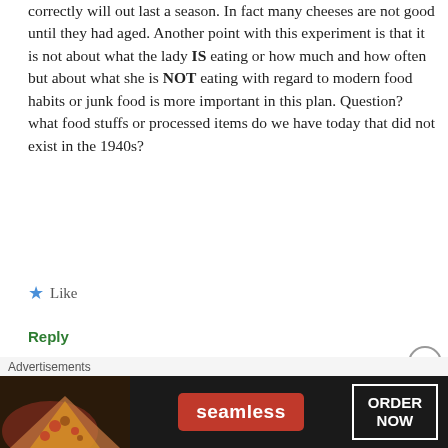correctly will out last a season. In fact many cheeses are not good until they had aged. Another point with this experiment is that it is not about what the lady IS eating or how much and how often but about what she is NOT eating with regard to modern food habits or junk food is more important in this plan. Question? what food stuffs or processed items do we have today that did not exist in the 1940s?
★ Like
Reply
[Figure (illustration): Circular avatar icon with blue arrow/chevron pattern on white background with circular border]
Bonnie Parker-Duke | August 7, 2014 at 3:48 am
[Figure (photo): Advertisement banner: pizza photo on left, Seamless red logo badge in center, ORDER NOW button on right, dark background]
Advertisements